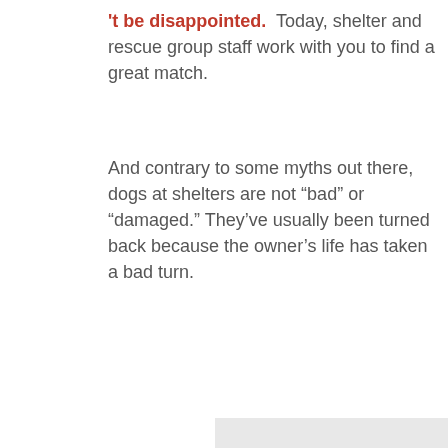't be disappointed.  Today, shelter and rescue group staff work with you to find a great match.
And contrary to some myths out there, dogs at shelters are not “bad” or “damaged.” They’ve usually been turned back because the owner’s life has taken a bad turn.
[Figure (other): Gray rectangle placeholder image, partially visible at bottom right of page]
To find an adoptable M...